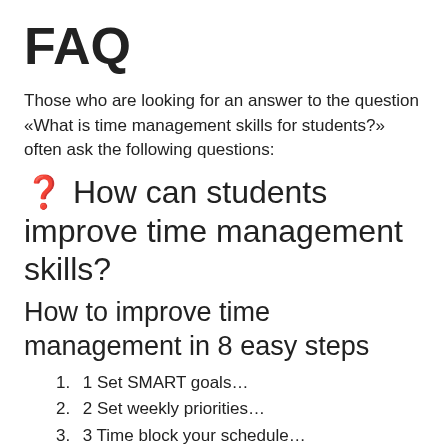FAQ
Those who are looking for an answer to the question «What is time management skills for students?» often ask the following questions:
❓ How can students improve time management skills?
How to improve time management in 8 easy steps
1 Set SMART goals…
2 Set weekly priorities…
3 Time block your schedule…
4 Delegate Tasks…
5 Take regular breaks…